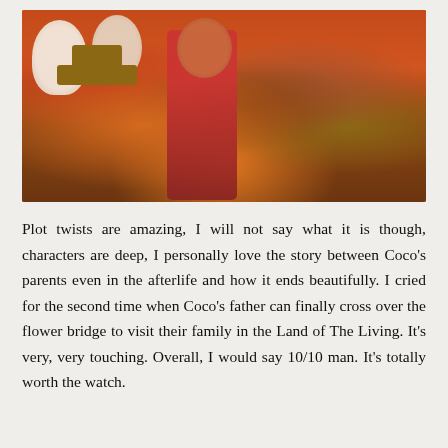[Figure (photo): Animated movie scene from Pixar's Coco showing several skeleton and human characters grouped together against an orange/red background. Characters include skeleton figures with elaborate skull face paint and a young boy in a red jacket in the center.]
Plot twists are amazing, I will not say what it is though, characters are deep, I personally love the story between Coco's parents even in the afterlife and how it ends beautifully. I cried for the second time when Coco's father can finally cross over the flower bridge to visit their family in the Land of The Living. It's very, very touching. Overall, I would say 10/10 man. It's totally worth the watch.